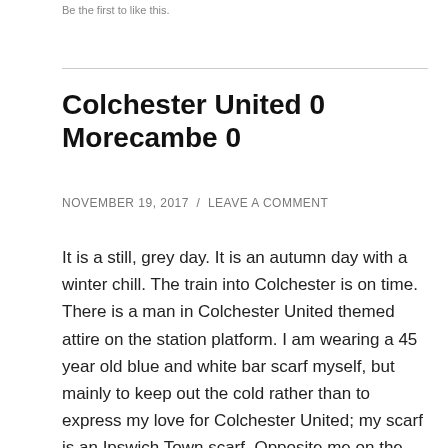Be the first to like this.
Colchester United 0 Morecambe 0
NOVEMBER 19, 2017 / LEAVE A COMMENT
It is a still, grey day. It is an autumn day with a winter chill. The train into Colchester is on time. There is a man in Colchester United themed attire on the station platform. I am wearing a 45 year old blue and white bar scarf myself, but mainly to keep out the cold rather than to express my love for Colchester United; my scarf is an Ipswich Town scarf. Opposite me on the train is a girl with glasses and green hair, she looks like she might be a next time on theelist to please restart and I